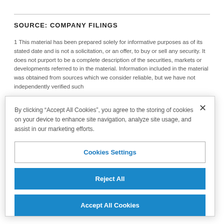SOURCE: COMPANY FILINGS
1 This material has been prepared solely for informative purposes as of its stated date and is not a solicitation, or an offer, to buy or sell any security. It does not purport to be a complete description of the securities, markets or developments referred to in the material. Information included in the material was obtained from sources which we consider reliable, but we have not independently verified such
By clicking “Accept All Cookies”, you agree to the storing of cookies on your device to enhance site navigation, analyze site usage, and assist in our marketing efforts.
Cookies Settings
Reject All
Accept All Cookies